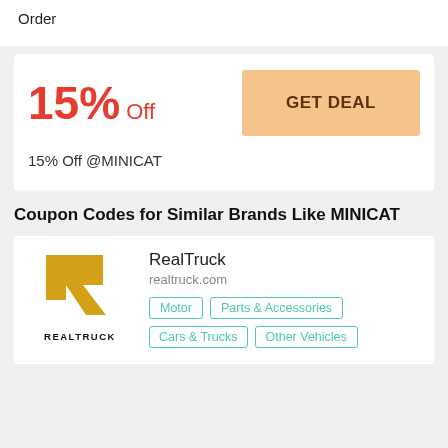Order
15% Off
GET DEAL
15% Off @MINICAT
Coupon Codes for Similar Brands Like MINICAT
[Figure (logo): RealTruck logo — gold stylized R above the word REALTRUCK in black]
RealTruck
realtruck.com
Motor
Parts & Accessories
Cars & Trucks
Other Vehicles